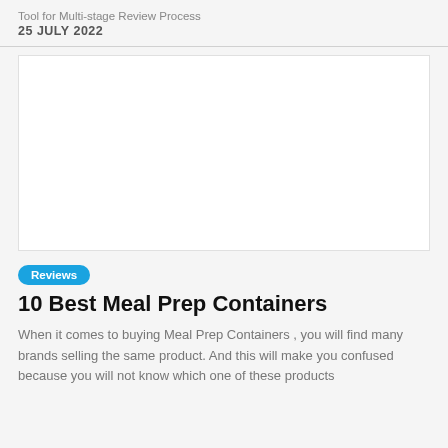Tool for Multi-stage Review Process
25 JULY 2022
[Figure (photo): White/blank image placeholder area]
Reviews
10 Best Meal Prep Containers
When it comes to buying Meal Prep Containers , you will find many brands selling the same product. And this will make you confused because you will not know which one of these products